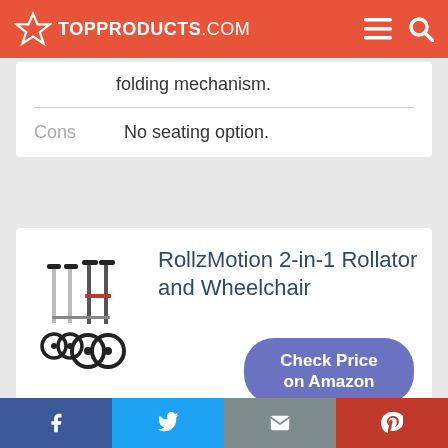TOPPRODUCTS.COM
folding mechanism.
Cons	No seating option.
RollzMotion 2-in-1 Rollator and Wheelchair
Check Price on Amazon
f  Twitter  Email  Pinterest